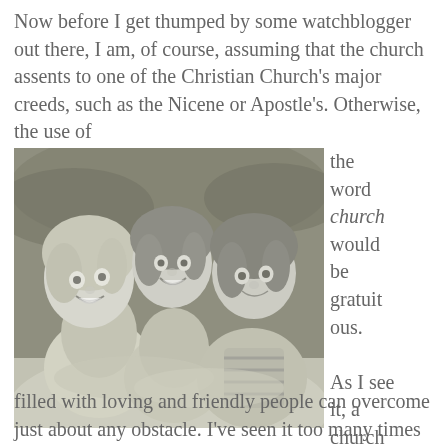Now before I get thumped by some watchblogger out there, I am, of course, assuming that the church assents to one of the Christian Church's major creeds, such as the Nicene or Apostle's. Otherwise, the use of the word church would be gratuitous. As I see it, a church filled with loving and friendly people can overcome just about any obstacle. I've seen it too many times to think otherwise. And
[Figure (photo): Black and white photograph of three young girls smiling and hugging each other]